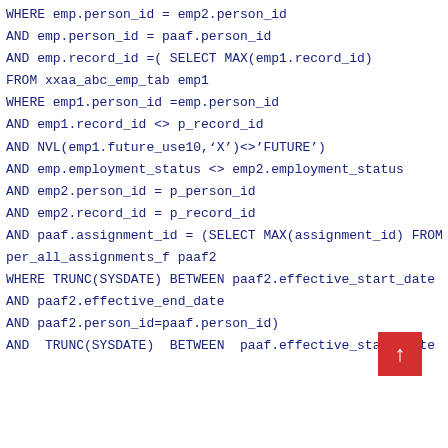WHERE emp.person_id = emp2.person_id
AND emp.person_id = paaf.person_id
AND emp.record_id =( SELECT MAX(emp1.record_id)
FROM xxaa_abc_emp_tab emp1
WHERE emp1.person_id =emp.person_id
AND emp1.record_id <> p_record_id
AND NVL(emp1.future_use10,'X')<>'FUTURE')
AND emp.employment_status <> emp2.employment_status
AND emp2.person_id = p_person_id
AND emp2.record_id = p_record_id
AND paaf.assignment_id = (SELECT MAX(assignment_id) FROM
per_all_assignments_f paaf2
WHERE TRUNC(SYSDATE) BETWEEN paaf2.effective_start_date
AND paaf2.effective_end_date
AND paaf2.person_id=paaf.person_id)
AND  TRUNC(SYSDATE)  BETWEEN  paaf.effective_start_date